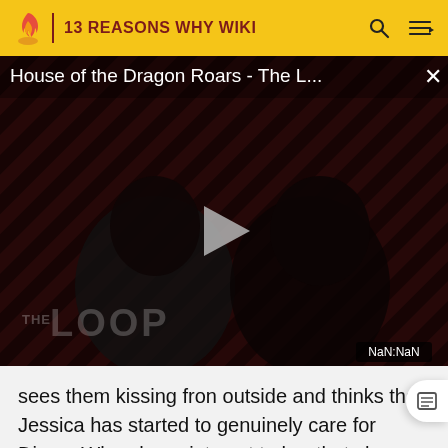13 REASONS WHY WIKI
[Figure (screenshot): Video player showing 'House of the Dragon Roars - The L...' with a play button, THE LOOP watermark, and NaN:NaN time display. Dark background with diagonal stripe pattern.]
sees them kissing fron outside and thinks that Jessica has started to genuinely care for Diego. When he points out to her that she likes him, she denies it.
[Figure (photo): Partial bottom image showing a scene from what appears to be a school or institutional setting]